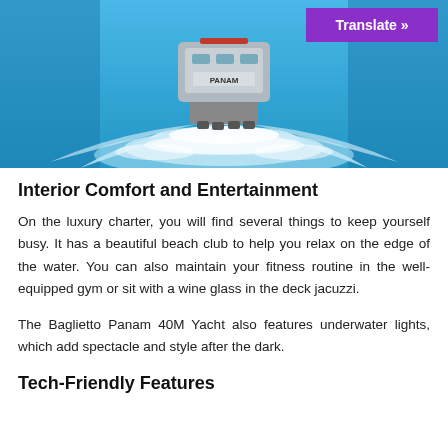[Figure (photo): Aerial view of a Baglietto Panam 40M yacht speeding through blue ocean water, leaving a large white wake. The yacht is seen from behind. A purple 'Translate »' button overlay appears in the top right corner.]
Interior Comfort and Entertainment
On the luxury charter, you will find several things to keep yourself busy. It has a beautiful beach club to help you relax on the edge of the water. You can also maintain your fitness routine in the well-equipped gym or sit with a wine glass in the deck jacuzzi.
The Baglietto Panam 40M Yacht also features underwater lights, which add spectacle and style after the dark.
Tech-Friendly Features